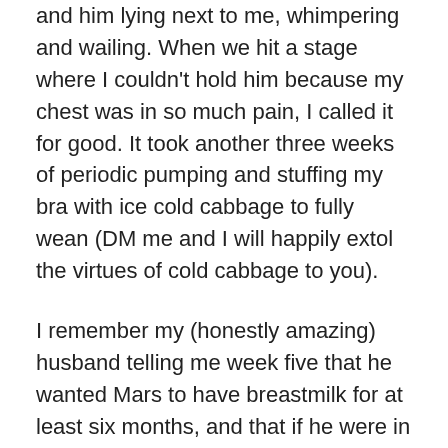and him lying next to me, whimpering and wailing. When we hit a stage where I couldn’t hold him because my chest was in so much pain, I called it for good. It took another three weeks of periodic pumping and stuffing my bra with ice cold cabbage to fully wean (DM me and I will happily extol the virtues of cold cabbage to you).
I remember my (honestly amazing) husband telling me week five that he wanted Mars to have breastmilk for at least six months, and that if he were in my position, he would tough it out.
I remember a nurse on the other end of a help line asking me repeatedly if I was “sure I wanted to stop” when I called her, sobbing, asking for weaning advice.
I remember people I’m close with telling me they thought I’d “just chosen not to breastfeed” in ways that made me